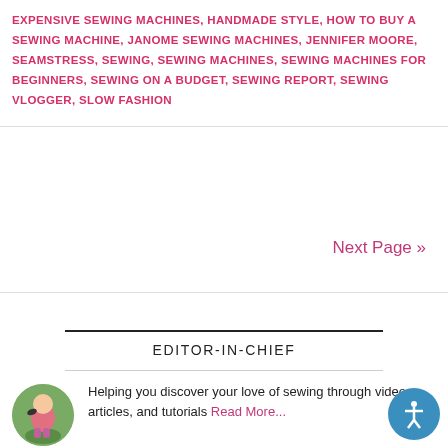EXPENSIVE SEWING MACHINES, HANDMADE STYLE, HOW TO BUY A SEWING MACHINE, JANOME SEWING MACHINES, JENNIFER MOORE, SEAMSTRESS, SEWING, SEWING MACHINES, SEWING MACHINES FOR BEGINNERS, SEWING ON A BUDGET, SEWING REPORT, SEWING VLOGGER, SLOW FASHION
Next Page »
EDITOR-IN-CHIEF
[Figure (photo): Circular avatar photo of a woman sitting outdoors on grass]
Helping you discover your love of sewing through videos, articles, and tutorials Read More...